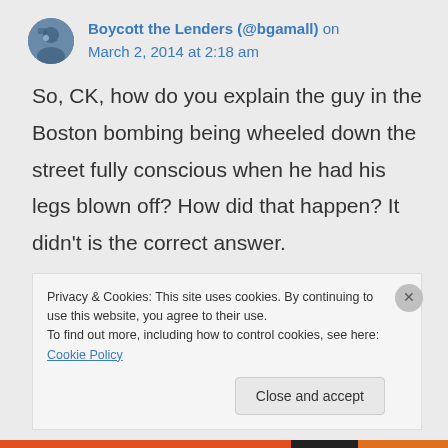Boycott the Lenders (@bgamall) on March 2, 2014 at 2:18 am
So, CK, how do you explain the guy in the Boston bombing being wheeled down the street fully conscious when he had his legs blown off? How did that happen? It didn't is the correct answer.
Privacy & Cookies: This site uses cookies. By continuing to use this website, you agree to their use. To find out more, including how to control cookies, see here: Cookie Policy
Close and accept